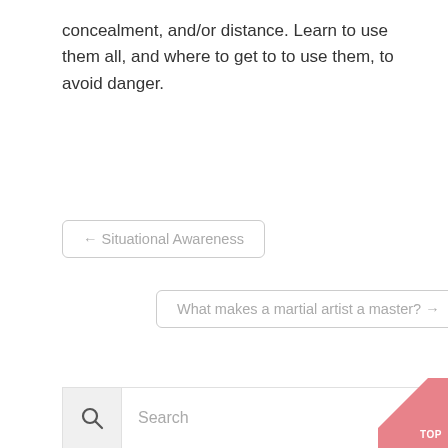concealment, and/or distance. Learn to use them all, and where to get to to use them, to avoid danger.
← Situational Awareness
What makes a martial artist a master? →
[Figure (other): Search bar with magnifying glass icon and placeholder text 'Search', with a pink/red triangle TOP button in the bottom-right corner]